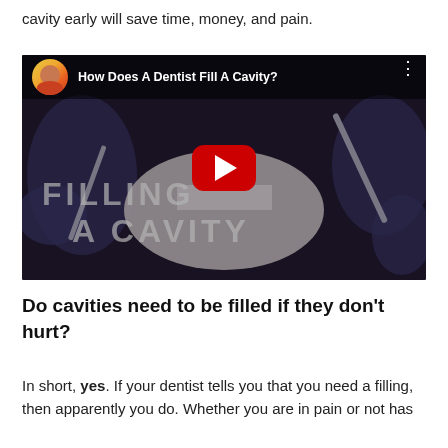cavity early will save time, money, and pain.
[Figure (screenshot): YouTube video thumbnail titled 'How Does A Dentist Fill A Cavity?' showing a dental procedure with gloved hands working in a patient's open mouth, with 'FILLING A CAVITY' text overlay and a YouTube play button in the center. A circular avatar of a woman is shown in the top-left corner.]
Do cavities need to be filled if they don't hurt?
In short, yes. If your dentist tells you that you need a filling, then apparently you do. Whether you are in pain or not has